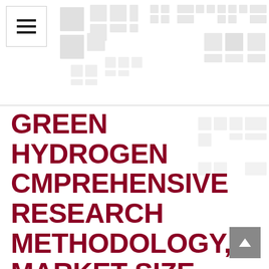[Figure (other): Decorative background with light gray grid/square pattern tiles scattered across the upper portion of the page]
GREEN HYDROGEN CMPREHENSIVE RESEARCH METHODOLOGY, MARKET SIZE, KEY INSIGHTS ANALYSIS, SEGMENTS AND EXTENSIVE PROFILES BY 2030 WITH LEADING REGIONS AND